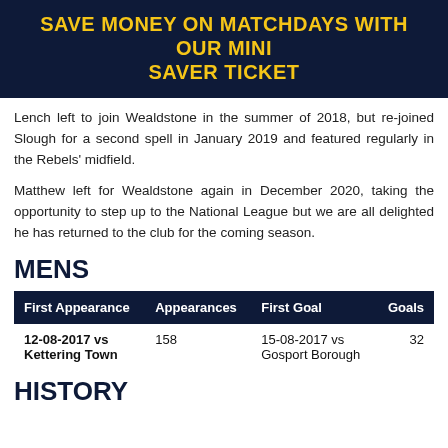SAVE MONEY ON MATCHDAYS WITH OUR MINI SAVER TICKET
Lench left to join Wealdstone in the summer of 2018, but re-joined Slough for a second spell in January 2019 and featured regularly in the Rebels' midfield.
Matthew left for Wealdstone again in December 2020, taking the opportunity to step up to the National League but we are all delighted he has returned to the club for the coming season.
MENS
| First Appearance | Appearances | First Goal | Goals |
| --- | --- | --- | --- |
| 12-08-2017 vs Kettering Town | 158 | 15-08-2017 vs Gosport Borough | 32 |
HISTORY